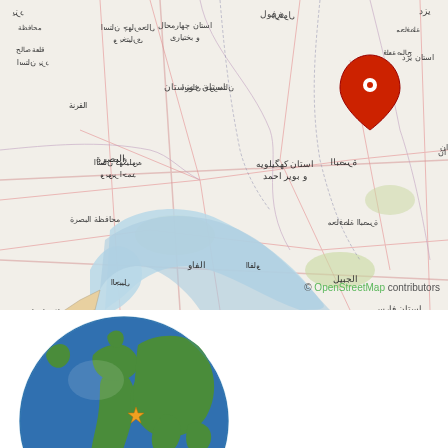[Figure (map): Regional map showing parts of Iran, Iraq, and Kuwait with Persian Gulf. A red location pin marker is placed in Kohgiluyeh and Boyer-Ahmad Province, Iran. Map labels are in Arabic/Persian script. OpenStreetMap attribution shown.]
[Figure (map): Globe view showing Eastern Hemisphere (Europe, Africa, Asia, Australia) with a gold star marker indicating the location of the earthquake/event in the Middle East/Iran region.]